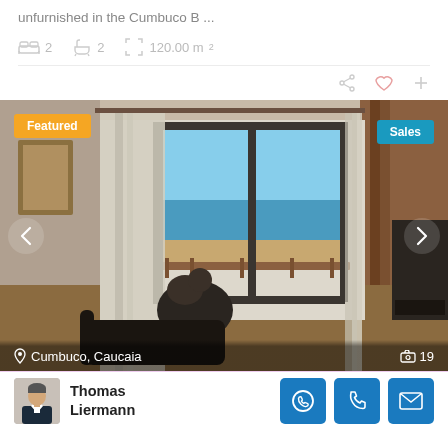unfurnished in the Cumbuco B ...
2  2  120.00 m²
[Figure (photo): Interior photo of a beachfront apartment living room with sliding glass doors opening to a balcony with ocean view. Tagged 'Featured' (yellow badge, top left) and 'Sales' (teal badge, top right). Location label 'Cumbuco, Caucaia' at bottom left, photo count '19' at bottom right. Navigation arrows on left and right sides.]
Thomas Liermann